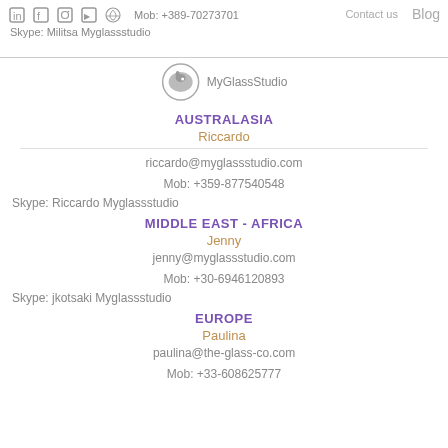Mob: +389-70273701  Contact us  Blog  Skype: Militsa Myglassstudio
[Figure (logo): MyGlassStudio logo with elephant icon in circle]
AUSTRALASIA
Riccardo
riccardo@myglassstudio.com
Mob: +359-877540548
Skype: Riccardo Myglassstudio
MIDDLE EAST - AFRICA
Jenny
jenny@myglassstudio.com
Mob: +30-6946120893
Skype: jkotsaki Myglassstudio
EUROPE
Paulina
paulina@the-glass-co.com
Mob: +33-608625777